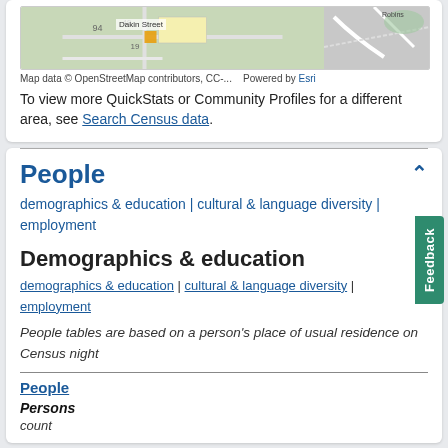[Figure (map): Map showing street layout with Dakin Street label, numbers 94, 49, 19, and reference to OpenStreetMap contributors. Right side shows road curves near Robinson area.]
Map data © OpenStreetMap contributors, CC-...    Powered by Esri
To view more QuickStats or Community Profiles for a different area, see Search Census data.
People
demographics & education | cultural & language diversity | employment
Demographics & education
demographics & education | cultural & language diversity | employment
People tables are based on a person's place of usual residence on Census night
People
Persons
count